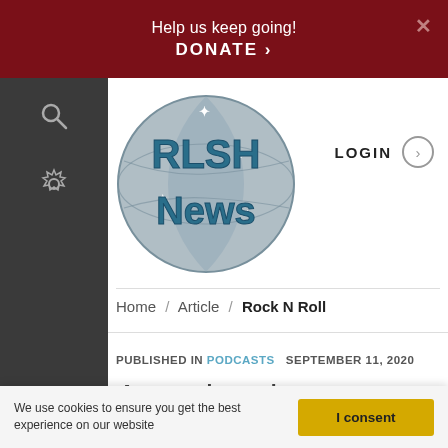Help us keep going! DONATE ›
[Figure (logo): RLSH News circular logo with globe/soccer-ball background in grey-blue, 'RLSH' in bold teal bubble letters at top, 'News' in teal bubble letters at bottom, stars on the globe.]
LOGIN
Home / Article / Rock N Roll
PUBLISHED IN PODCASTS   SEPTEMBER 11, 2020
Armed and Dangerous: RLSH or Vigilante? - Heroes 101 Radio
We use cookies to ensure you get the best experience on our website